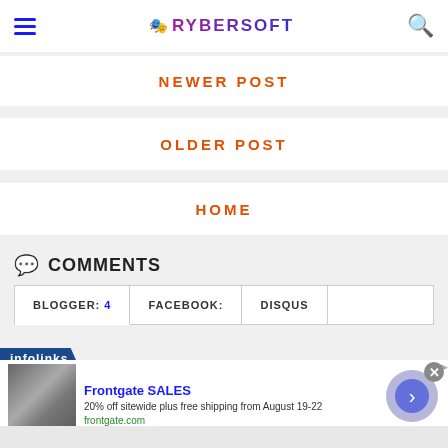RYBERSOFT
NEWER POST
OLDER POST
HOME
COMMENTS
BLOGGER: 4  FACEBOOK:  DISQUS
[Figure (screenshot): Infolinks advertisement banner with Frontgate SALES ad showing outdoor furniture image, text '20% off sitewide plus free shipping from August 19-22', frontgate.com URL, and navigation arrow button]